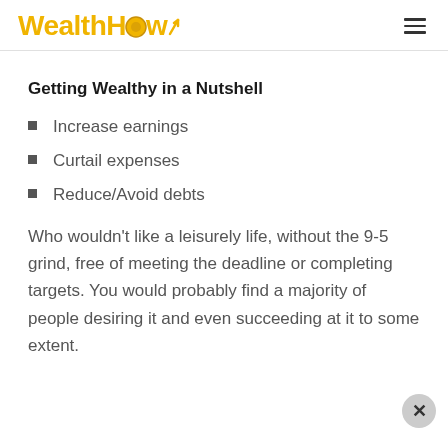WealthHow
Getting Wealthy in a Nutshell
Increase earnings
Curtail expenses
Reduce/Avoid debts
Who wouldn't like a leisurely life, without the 9-5 grind, free of meeting the deadline or completing targets. You would probably find a majority of people desiring it and even succeeding at it to some extent.